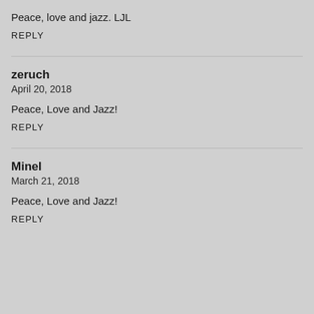Peace, love and jazz. LJL
REPLY
zeruch
April 20, 2018
Peace, Love and Jazz!
REPLY
Minel
March 21, 2018
Peace, Love and Jazz!
REPLY